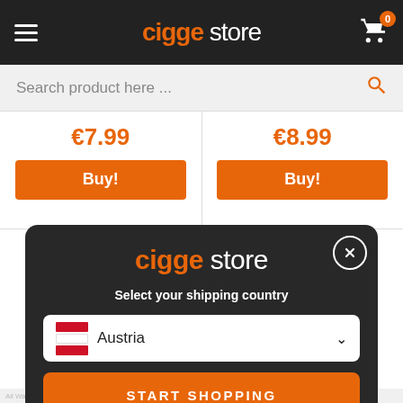cigge store — header with hamburger menu, logo, and cart icon (0 items)
Search product here ...
€7.99
Buy!
€8.99
Buy!
[Figure (screenshot): Modal dialog on dark background with cigge store logo, 'Select your shipping country' subtitle, Austria country selector dropdown with Austrian flag, and 'START SHOPPING' button]
cigge store
Select your shipping country
Austria
START SHOPPING